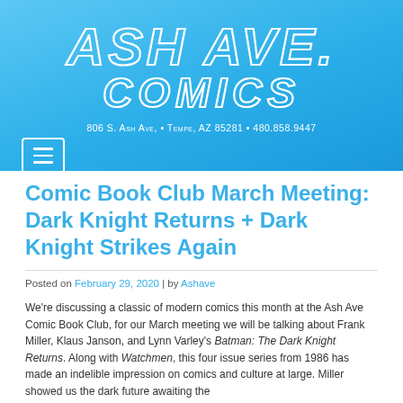[Figure (logo): Ash Ave Comics logo with text '806 S. Ash Ave, • Tempe, AZ 85281 • 480.858.9447' on a blue gradient banner background]
Comic Book Club March Meeting: Dark Knight Returns + Dark Knight Strikes Again
Posted on February 29, 2020 | by Ashave
We're discussing a classic of modern comics this month at the Ash Ave Comic Book Club, for our March meeting we will be talking about Frank Miller, Klaus Janson, and Lynn Varley's Batman: The Dark Knight Returns. Along with Watchmen, this four issue series from 1986 has made an indelible impression on comics and culture at large. Miller showed us the dark future awaiting the